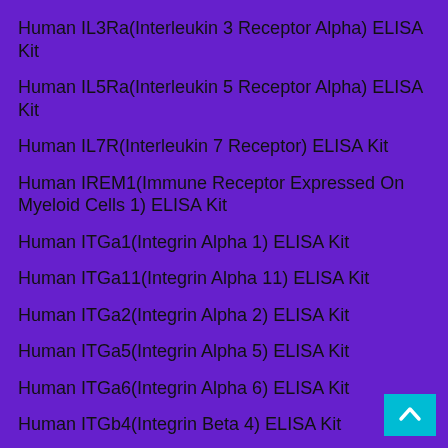Human IL3Ra(Interleukin 3 Receptor Alpha) ELISA Kit
Human IL5Ra(Interleukin 5 Receptor Alpha) ELISA Kit
Human IL7R(Interleukin 7 Receptor) ELISA Kit
Human IREM1(Immune Receptor Expressed On Myeloid Cells 1) ELISA Kit
Human ITGa1(Integrin Alpha 1) ELISA Kit
Human ITGa11(Integrin Alpha 11) ELISA Kit
Human ITGa2(Integrin Alpha 2) ELISA Kit
Human ITGa5(Integrin Alpha 5) ELISA Kit
Human ITGa6(Integrin Alpha 6) ELISA Kit
Human ITGb4(Integrin Beta 4) ELISA Kit
Human ITGb6(Integrin Beta 6) ELISA Kit